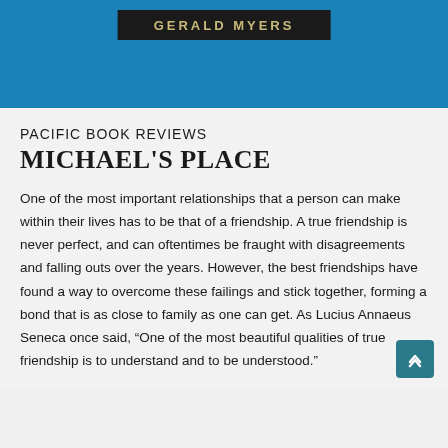[Figure (other): Blue banner header with dark label reading GERALD MYERS in gold/tan spaced letters]
PACIFIC BOOK REVIEWS
MICHAEL'S PLACE
One of the most important relationships that a person can make within their lives has to be that of a friendship. A true friendship is never perfect, and can oftentimes be fraught with disagreements and falling outs over the years. However, the best friendships have found a way to overcome these failings and stick together, forming a bond that is as close to family as one can get. As Lucius Annaeus Seneca once said, “One of the most beautiful qualities of true friendship is to understand and to be understood.”